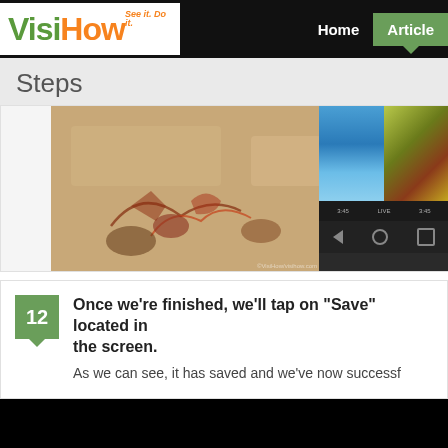[Figure (logo): VisiHow logo with tagline 'See it. Do it.' - Visi in green, How in orange]
Home  Articles
Steps
[Figure (screenshot): Screenshot showing a hand-drawn image on left and a smartphone screen on the right displaying photo thumbnails and navigation bar]
12  Once we're finished, we'll tap on "Save" located in the screen.
As we can see, it has saved and we've now successf